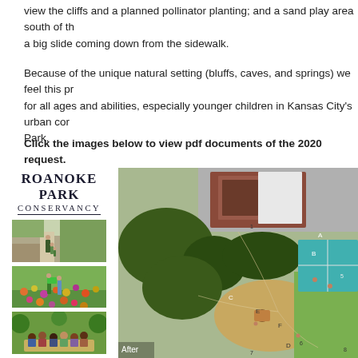view the cliffs and a planned pollinator planting; and a sand play area south of the a big slide coming down from the sidewalk.
Because of the unique natural setting (bluffs, caves, and springs) we feel this project will provide opportunities for all ages and abilities, especially younger children in Kansas City's urban core. Park.
Click the images below to view pdf documents of the 2020 request.
[Figure (photo): Roanoke Park Conservancy logo and three thumbnail photos of the park — people walking on a path, wildflower garden, and children at an outdoor gathering.]
[Figure (map): Aerial/plan view map of Roanoke Park showing 'After' design with labeled areas A, B, C, D, E, F and numbered zones 1, 5, 6, 7, 8. Shows existing building, tennis courts, playground areas and landscaping.]